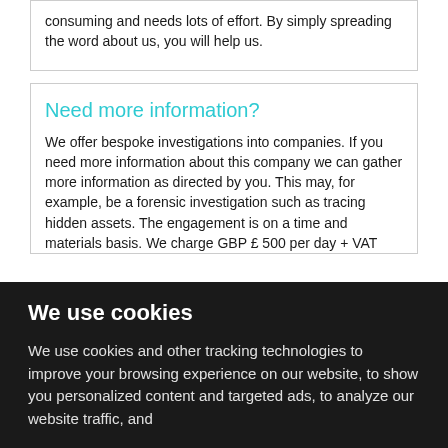consuming and needs lots of effort. By simply spreading the word about us, you will help us.
Need more information?
We offer bespoke investigations into companies. If you need more information about this company we can gather more information as directed by you. This may, for example, be a forensic investigation such as tracing hidden assets. The engagement is on a time and materials basis. We charge GBP £ 500 per day + VAT
We use cookies
We use cookies and other tracking technologies to improve your browsing experience on our website, to show you personalized content and targeted ads, to analyze our website traffic, and